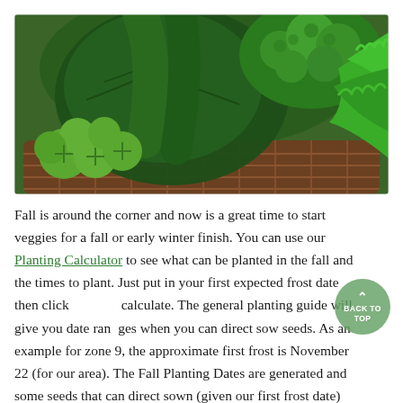[Figure (photo): Wicker basket filled with fresh green vegetables including brussels sprouts on the left, dark leafy cabbage/chard in the center, broccoli on the upper right, and curly kale on the right.]
Fall is around the corner and now is a great time to start veggies for a fall or early winter finish. You can use our Planting Calculator to see what can be planted in the fall and the times to plant. Just put in your first expected frost date then click calculate. The general planting guide will give you date ranges when you can direct sow seeds. As an example for zone 9, the approximate first frost is November 22 (for our area). The Fall Planting Dates are generated and some seeds that can direct sown (given our first frost date) now are broccoli, brussels sprouts, cauliflower, cabbage, chard, most greens, peas, kohlrabi, kale,